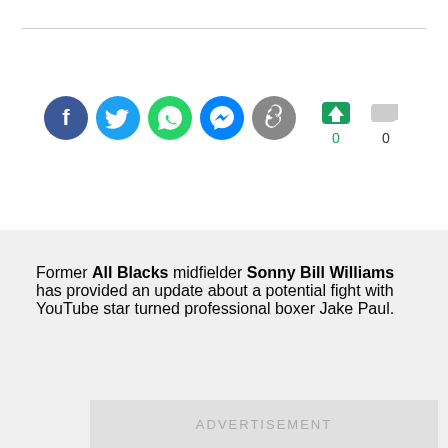[Figure (other): Row of social media sharing icons: Facebook, Twitter, WhatsApp, Messenger, and a link/copy icon, followed by thumbs-up/thumbs-down reaction buttons with counts 0 and 0]
Former All Blacks midfielder Sonny Bill Williams has provided an update about a potential fight with YouTube star turned professional boxer Jake Paul.
[Figure (other): Advertisement placeholder box with the text ADVERTISEMENT centered in gray]